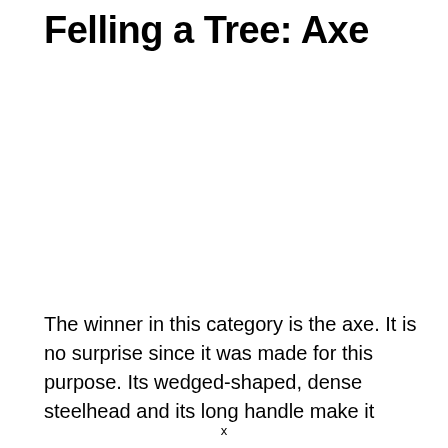Felling a Tree: Axe
The winner in this category is the axe. It is no surprise since it was made for this purpose. Its wedged-shaped, dense steelhead and its long handle make it
x